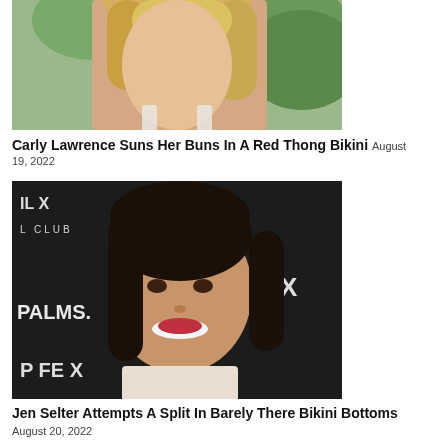[Figure (photo): Blonde woman in white bikini top outdoors with green foliage background]
Carly Lawrence Suns Her Buns In A Red Thong Bikini August 19, 2022
[Figure (photo): Dark-haired woman smiling at camera at Palms event with dark background and venue signage]
Jen Selter Attempts A Split In Barely There Bikini Bottoms
August 20, 2022